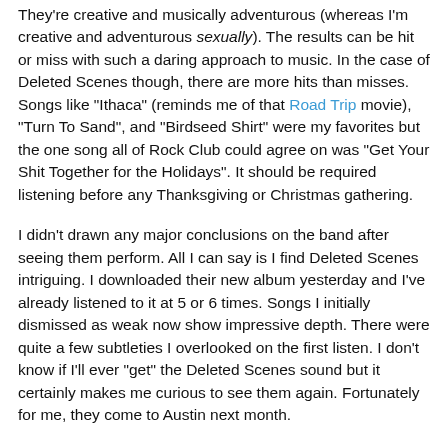They're creative and musically adventurous (whereas I'm creative and adventurous sexually). The results can be hit or miss with such a daring approach to music. In the case of Deleted Scenes though, there are more hits than misses. Songs like "Ithaca" (reminds me of that Road Trip movie), "Turn To Sand", and "Birdseed Shirt" were my favorites but the one song all of Rock Club could agree on was "Get Your Shit Together for the Holidays". It should be required listening before any Thanksgiving or Christmas gathering.
I didn't drawn any major conclusions on the band after seeing them perform. All I can say is I find Deleted Scenes intriguing. I downloaded their new album yesterday and I've already listened to it at 5 or 6 times. Songs I initially dismissed as weak now show impressive depth. There were quite a few subtleties I overlooked on the first listen. I don't know if I'll ever "get" the Deleted Scenes sound but it certainly makes me curious to see them again. Fortunately for me, they come to Austin next month.
While it's important to recount the show, we must move on to the pivotal event of the night. While walking back to Potsy's